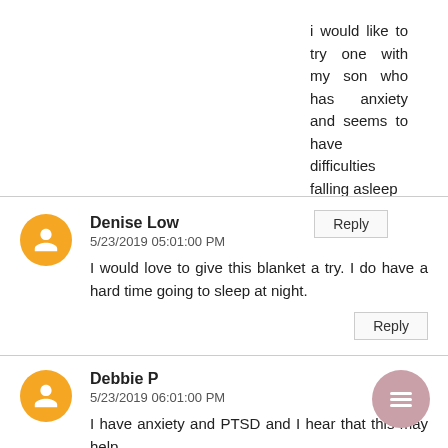i would like to try one with my son who has anxiety and seems to have difficulties falling asleep
Reply
Denise Low
5/23/2019 05:01:00 PM
I would love to give this blanket a try. I do have a hard time going to sleep at night.
Reply
Debbie P
5/23/2019 06:01:00 PM
I have anxiety and PTSD and I hear that this may help.